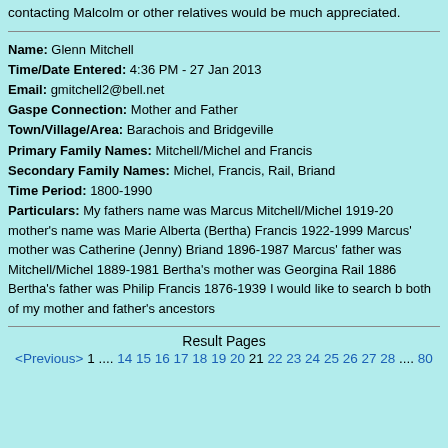contacting Malcolm or other relatives would be much appreciated.
Name: Glenn Mitchell
Time/Date Entered: 4:36 PM - 27 Jan 2013
Email: gmitchell2@bell.net
Gaspe Connection: Mother and Father
Town/Village/Area: Barachois and Bridgeville
Primary Family Names: Mitchell/Michel and Francis
Secondary Family Names: Michel, Francis, Rail, Briand
Time Period: 1800-1990
Particulars: My fathers name was Marcus Mitchell/Michel 1919-20... mother's name was Marie Alberta (Bertha) Francis 1922-1999 Marcus' mother was Catherine (Jenny) Briand 1896-1987 Marcus' father was Mitchell/Michel 1889-1981 Bertha's mother was Georgina Rail 1886... Bertha's father was Philip Francis 1876-1939 I would like to search both of my mother and father's ancestors
Result Pages
<Previous> 1 .... 14 15 16 17 18 19 20 21 22 23 24 25 26 27 28 .... 80